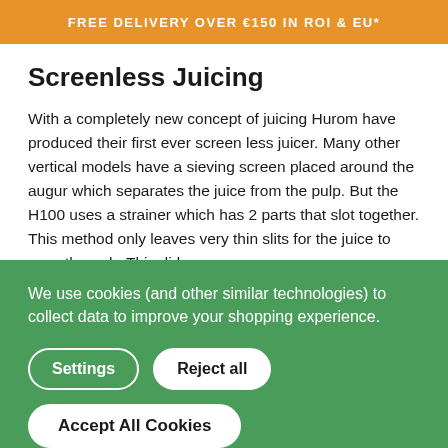FREE DELIVERY OVER €150 IN ROI & EU*
Screenless Juicing
With a completely new concept of juicing Hurom have produced their first ever screen less juicer. Many other vertical models have a sieving screen placed around the augur which separates the juice from the pulp. But the H100 uses a strainer which has 2 parts that slot together. This method only leaves very thin slits for the juice to pass through. This did
We use cookies (and other similar technologies) to collect data to improve your shopping experience.
Settings
Reject all
Accept All Cookies